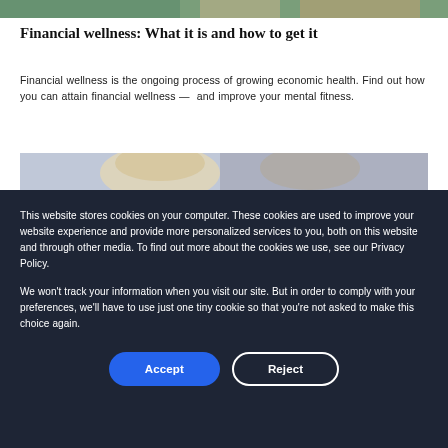[Figure (photo): Top portion of a photo showing people outdoors with green foliage background]
Financial wellness: What it is and how to get it
Financial wellness is the ongoing process of growing economic health. Find out how you can attain financial wellness —  and improve your mental fitness.
[Figure (photo): Partial photo of two women, one blonde and one with dark hair, appearing to be in conversation indoors]
This website stores cookies on your computer. These cookies are used to improve your website experience and provide more personalized services to you, both on this website and through other media. To find out more about the cookies we use, see our Privacy Policy.
We won't track your information when you visit our site. But in order to comply with your preferences, we'll have to use just one tiny cookie so that you're not asked to make this choice again.